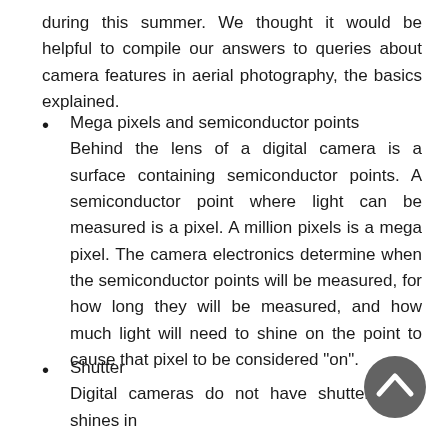during this summer. We thought it would be helpful to compile our answers to queries about camera features in aerial photography, the basics explained.
Mega pixels and semiconductor points
Behind the lens of a digital camera is a surface containing semiconductor points. A semiconductor point where light can be measured is a pixel. A million pixels is a mega pixel. The camera electronics determine when the semiconductor points will be measured, for how long they will be measured, and how much light will need to shine on the point to cause that pixel to be considered "on".
Shutter
Digital cameras do not have shutter. Light shines in